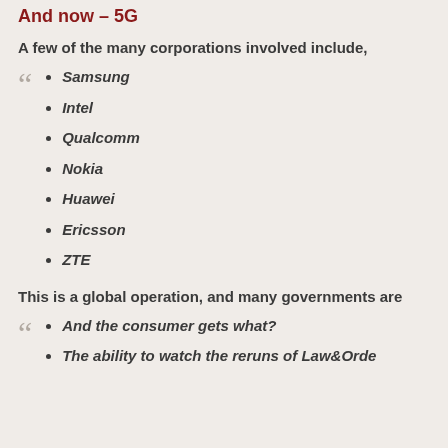And now – 5G
A few of the many corporations involved include,
Samsung
Intel
Qualcomm
Nokia
Huawei
Ericsson
ZTE
This is a global operation, and many governments are
And the consumer gets what?
The ability to watch the reruns of Law&Orde